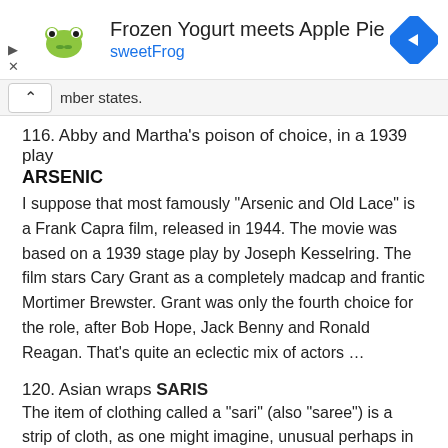[Figure (screenshot): Advertisement banner for sweetFrog frozen yogurt. Shows sweetFrog logo on left, text 'Frozen Yogurt meets Apple Pie' as title and 'sweetFrog' as subtitle in blue, and a blue diamond navigation icon on right.]
mber states.
116. Abby and Martha's poison of choice, in a 1939 play
ARSENIC
I suppose that most famously “Arsenic and Old Lace” is a Frank Capra film, released in 1944. The movie was based on a 1939 stage play by Joseph Kesselring. The film stars Cary Grant as a completely madcap and frantic Mortimer Brewster. Grant was only the fourth choice for the role, after Bob Hope, Jack Benny and Ronald Reagan. That’s quite an eclectic mix of actors …
120. Asian wraps SARIS
The item of clothing called a “sari” (also “saree”) is a strip of cloth, as one might imagine, unusual perhaps in that is